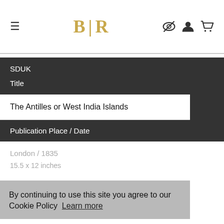BLR
SDUK
Title
The Antilles or West India Islands
Publication Place / Date
London / 1835
15.5 x 12 inches
By continuing to use this site you agree to our Cookie Policy  Learn more
Color
Got it!
Uncolored